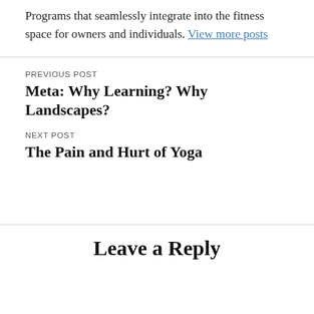Programs that seamlessly integrate into the fitness space for owners and individuals. View more posts
PREVIOUS POST
Meta: Why Learning? Why Landscapes?
NEXT POST
The Pain and Hurt of Yoga
Leave a Reply